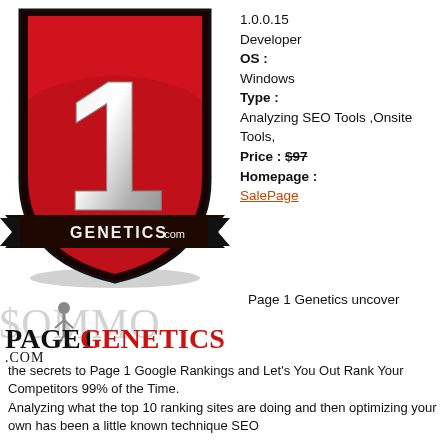[Figure (logo): Page 1 Genetics shield logo - red shield with large silver number 1 and ribbon banner reading GENETICS.COM]
1.0.0.15
Developer
OS :
Windows
Type :
Analyzing SEO Tools ,Onsite Tools,
Price : $97
Homepage :
SalePage
[Figure (logo): PAGE1GENETICS.COM logo in bold black and red text with $OMMO watermark overlay]
Page 1 Genetics uncover the secrets to Page 1 Google Rankings and Let's You Out Rank Your Competitors 99% of the Time.
Analyzing what the top 10 ranking sites are doing and then optimizing your own has been a little known technique SEO